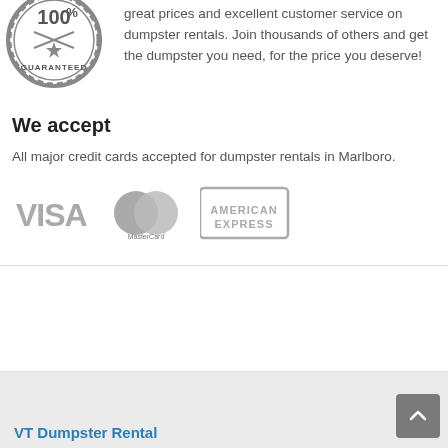[Figure (logo): 100% Guaranteed badge/seal in dark gray]
great prices and excellent customer service on dumpster rentals. Join thousands of others and get the dumpster you need, for the price you deserve!
We accept
All major credit cards accepted for dumpster rentals in Marlboro.
[Figure (logo): VISA, MasterCard, and American Express logos in gray]
VT Dumpster Rental